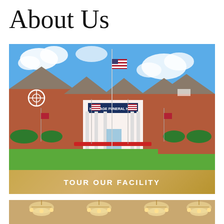About Us
[Figure (photo): Exterior photo of Heritage Funeral Home — a large brick building with white columns, gabled roof, American flags on a tall flagpole and flanking the entrance, well-manicured green lawn, blue sky with white clouds.]
TOUR OUR FACILITY
[Figure (photo): Partial interior photo showing chandeliers in what appears to be a reception or chapel room with warm golden lighting.]